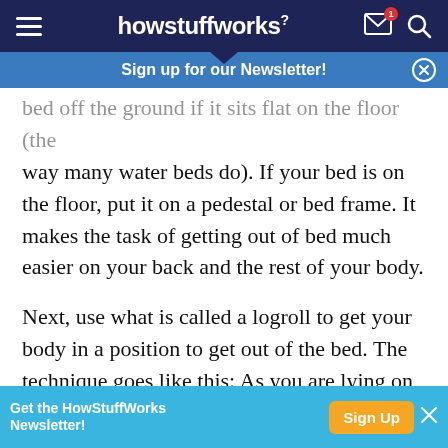howstuffworks
Sign up for our Newsletter!
bed off the ground if it sits flat on the floor (the way many water beds do). If your bed is on the floor, put it on a pedestal or bed frame. It makes the task of getting out of bed much easier on your back and the rest of your body.
Next, use what is called a logroll to get your body in a position to get out of the bed. The technique goes like this: As you are lying on your back, roll over onto your side so you are facing the side of the bed you
Get the HowStuffWorks Newsletter! Sign Up